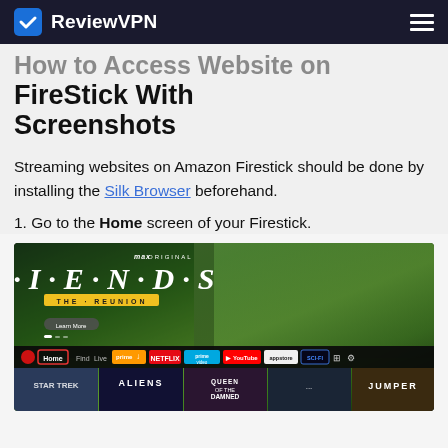ReviewVPN
How to Access Website on FireStick With Screenshots
Streaming websites on Amazon Firestick should be done by installing the Silk Browser beforehand.
1. Go to the Home screen of your Firestick.
[Figure (screenshot): Amazon FireStick home screen showing the Friends: The Reunion Max Original banner, navigation bar with Home, Find, Live, Prime Video, Netflix, Prime Video, YouTube, App Store, Sci-Fi buttons, and bottom row of movie thumbnails including Aliens and Queen of the Damned and Jumper.]